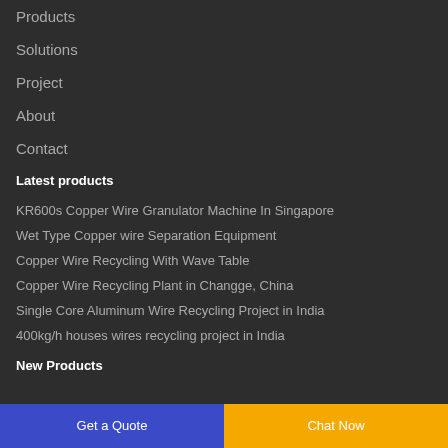Products
Solutions
Project
About
Contact
Latest products
KR600s Copper Wire Granulator Machine In Singapore
Wet Type Copper wire Separation Equipment
Copper Wire Recycling With Wave Table
Copper Wire Recycling Plant in Changge, China
Single Core Aluminum Wire Recycling Project in India
400kg/h houses wires recycling project in India
New Products
Get a Quote   Chat Now